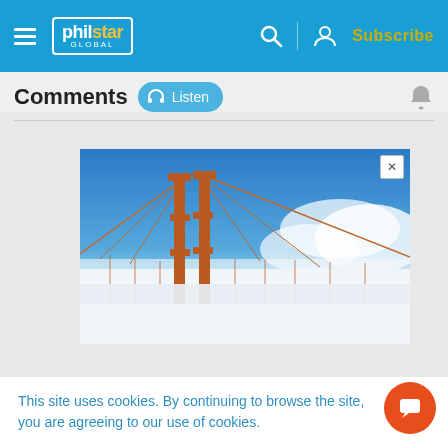philstar GLOBAL — Subscribe
Comments
[Figure (screenshot): Advertisement showing a photograph of the Golden Gate Bridge tower emerging from fog with blue sky background]
This site uses cookies. By continuing to browse the site, you are agreeing to our use of cookies.